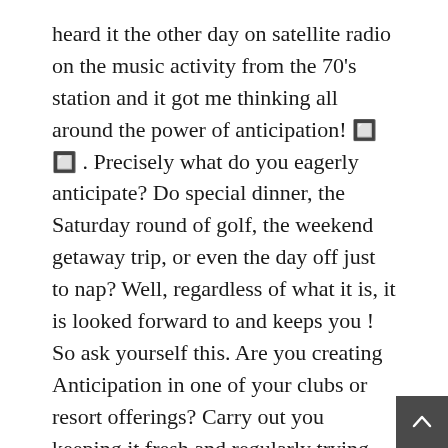heard it the other day on satellite radio on the music activity from the 70's station and it got me thinking all around the power of anticipation! 🔲 🔲 . Precisely what do you eagerly anticipate? Do special dinner, the Saturday round of golf, the weekend getaway trip, or even the day off just to nap? Well, regardless of what it is, it is looked forward to and keeps you ! So ask yourself this. Are you creating Anticipation in one of your clubs or resort offerings? Carry out you keeping it fresh and regularly trying new activities? Do you brainstorm with your staff for new ideas? Are you step as they are? Are your events really special or just called special because exactly what you continually called all.
One last tip: During certain points during the the year, like Christmas and summer, it Drink Club is the to get a lighter read to match the group's busy cycles.